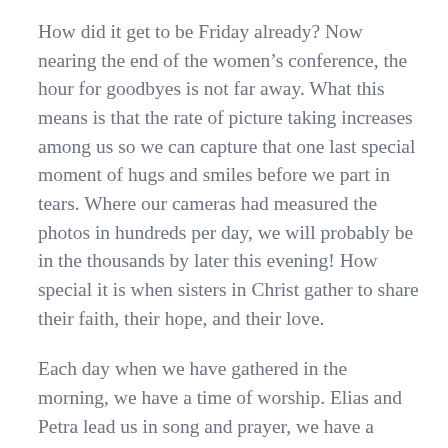How did it get to be Friday already? Now nearing the end of the women’s conference, the hour for goodbyes is not far away. What this means is that the rate of picture taking increases among us so we can capture that one last special moment of hugs and smiles before we part in tears. Where our cameras had measured the photos in hundreds per day, we will probably be in the thousands by later this evening! How special it is when sisters in Christ gather to share their faith, their hope, and their love.
Each day when we have gathered in the morning, we have a time of worship. Elias and Petra lead us in song and prayer, we have a Bible study (these have centered on scriptures about women) and